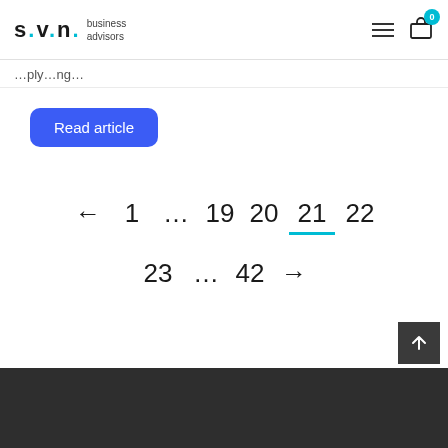s.v.n. business advisors — navigation header with hamburger menu and shopping bag (0 items)
…ply…ng…
Read article
← 1 … 19 20 21 22
23 … 42 →
dark footer bar with scroll-to-top button